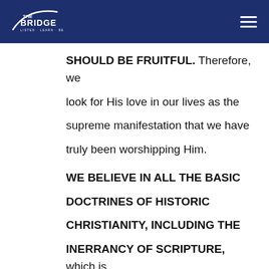The Bridge — Listen · Learn · Believe
SHOULD BE FRUITFUL. Therefore, we look for His love in our lives as the supreme manifestation that we have truly been worshipping Him.
WE BELIEVE IN ALL THE BASIC DOCTRINES OF HISTORIC CHRISTIANITY, INCLUDING THE INERRANCY OF SCRIPTURE, which is the belief that the Bible, Old and New Testaments are the inspired, infallible Word of God.